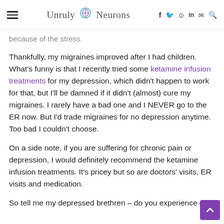Unruly Neurons — navigation header with hamburger menu, logo, and social icons (f, twitter, instagram, in, mail, search)
because of the stress.
Thankfully, my migraines improved after I had children. What's funny is that I recently tried some ketamine infusion treatments for my depression, which didn't happen to work for that, but I'll be damned if it didn't (almost) cure my migraines. I rarely have a bad one and I NEVER go to the ER now. But I'd trade migraines for no depression anytime. Too bad I couldn't choose.
On a side note, if you are suffering for chronic pain or depression, I would definitely recommend the ketamine infusion treatments. It's pricey but so are doctors' visits, ER visits and medication.
So tell me my depressed brethren – do you experience chro…